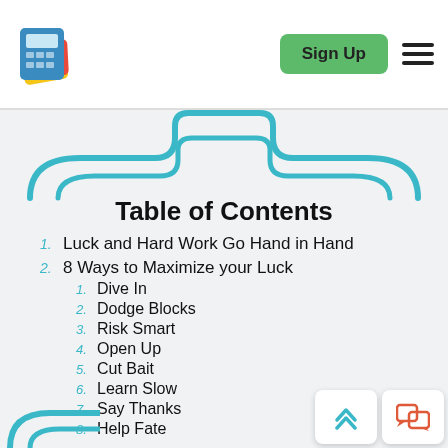Sign Up
[Figure (illustration): Decorative teal bracket / arch shape at top of content area]
Table of Contents
1. Luck and Hard Work Go Hand in Hand
2. 8 Ways to Maximize your Luck
1. Dive In
2. Dodge Blocks
3. Risk Smart
4. Open Up
5. Cut Bait
6. Learn Slow
7. Say Thanks
8. Help Fate